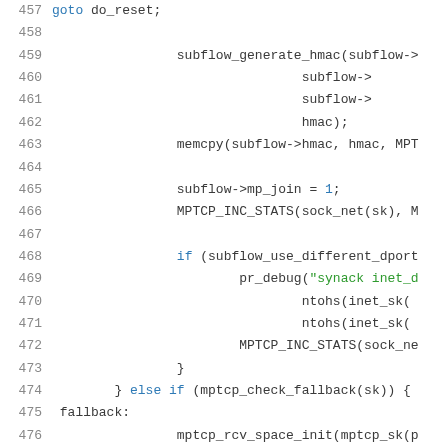[Figure (screenshot): Source code listing showing C code lines 457-478, with line numbers on the left, featuring syntax highlighting (blue keywords, green strings, dark text for identifiers). Code involves MPTCP subflow operations including goto, subflow_generate_hmac, memcpy, mp_join, MPTCP_INC_STATS, if/else blocks, pr_debug, ntohs, mptcp_check_fallback, mptcp_rcv_space_init, mptcp_set_connected.]